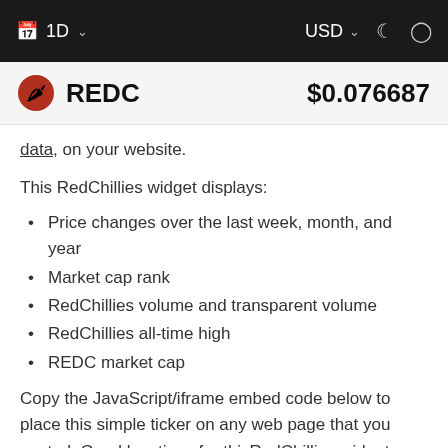1D   USD
REDC   $0.076687
data, on your website.
This RedChillies widget displays:
Price changes over the last week, month, and year
Market cap rank
RedChillies volume and transparent volume
RedChillies all-time high
REDC market cap
Copy the JavaScript/iframe embed code below to place this simple ticker on any web page that you control. Good locations for thisRedChillies widget are your project home page or WordPress blog.
By default, this widget displays live charts and prices